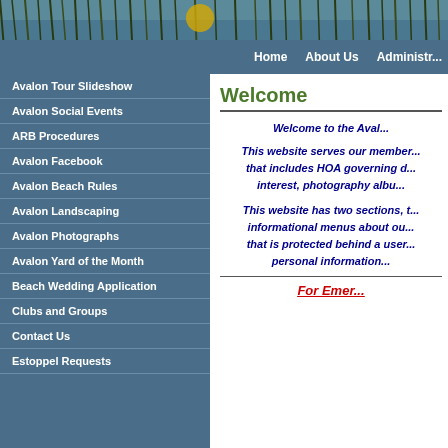[Figure (photo): Website header with nature/grass background image and logo]
Home   About Us   Administr...
Avalon Tour Slideshow
Avalon Social Events
ARB Procedures
Avalon Facebook
Avalon Beach Rules
Avalon Landscaping
Avalon Photographs
Avalon Yard of the Month
Beach Wedding Application
Clubs and Groups
Contact Us
Estoppel Requests
Welcome
Welcome to the Aval...
This website serves our member... that includes HOA governing d... interest, photography albu...
This website has two sections, t... informational menus about ou... that is protected behind a user... personal information...
For Emer...